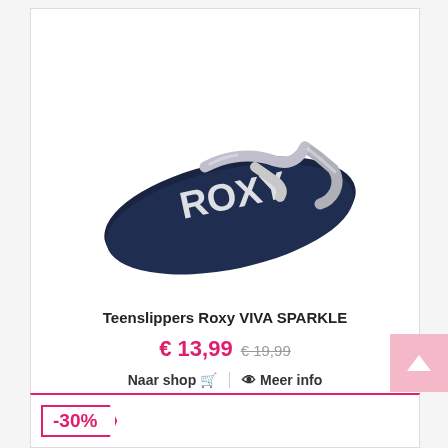[Figure (photo): Roxy VIVA SPARKLE flip flop / teenslippers in navy blue with silver glitter straps and ROXY logo on footbed]
Teenslippers Roxy VIVA SPARKLE
€ 13,99 € 19,99
Naar shop 🛒 | 👁 Meer info
-30%